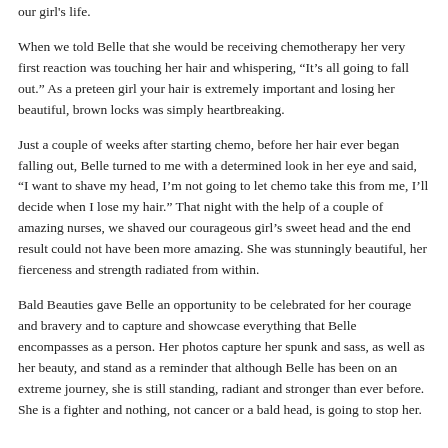our girl's life.
When we told Belle that she would be receiving chemotherapy her very first reaction was touching her hair and whispering, “It’s all going to fall out.” As a preteen girl your hair is extremely important and losing her beautiful, brown locks was simply heartbreaking.
Just a couple of weeks after starting chemo, before her hair ever began falling out, Belle turned to me with a determined look in her eye and said, “I want to shave my head, I’m not going to let chemo take this from me, I’ll decide when I lose my hair.” That night with the help of a couple of amazing nurses, we shaved our courageous girl’s sweet head and the end result could not have been more amazing. She was stunningly beautiful, her fierceness and strength radiated from within.
Bald Beauties gave Belle an opportunity to be celebrated for her courage and bravery and to capture and showcase everything that Belle encompasses as a person. Her photos capture her spunk and sass, as well as her beauty, and stand as a reminder that although Belle has been on an extreme journey, she is still standing, radiant and stronger than ever before. She is a fighter and nothing, not cancer or a bald head, is going to stop her.